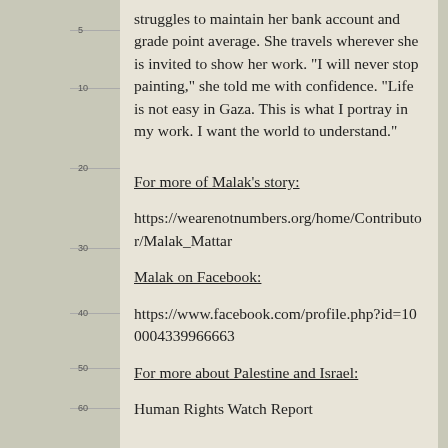struggles to maintain her bank account and grade point average. She travels wherever she is invited to show her work. "I will never stop painting," she told me with confidence. "Life is not easy in Gaza. This is what I portray in my work. I want the world to understand."
For more of Malak's story:
https://wearenotnumbers.org/home/Contributor/Malak_Mattar
Malak on Facebook:
https://www.facebook.com/profile.php?id=100004339966663
For more about Palestine and Israel:
Human Rights Watch Report